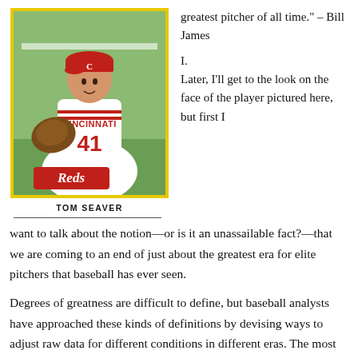[Figure (photo): Baseball card of Tom Seaver wearing Cincinnati Reds uniform #41, holding a glove, with yellow border and Reds script logo]
TOM SEAVER
greatest pitcher of all time." – Bill James
I.
Later, I'll get to the look on the face of the player pictured here, but first I want to talk about the notion—or is it an unassailable fact?—that we are coming to an end of just about the greatest era for elite pitchers that baseball has ever seen.
Degrees of greatness are difficult to define, but baseball analysts have approached these kinds of definitions by devising ways to adjust raw data for different conditions in different eras. The most effective single statistic of this